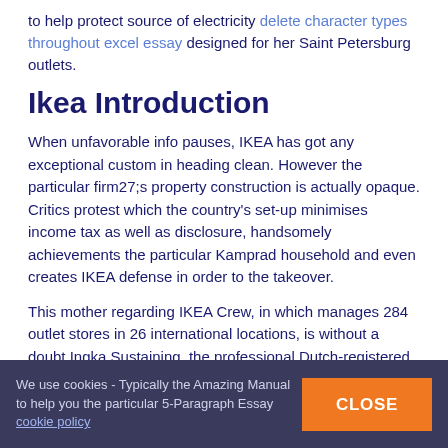to help protect source of electricity delete character types throughout excel essay designed for her Saint Petersburg outlets.
Ikea Introduction
When unfavorable info pauses, IKEA has got any exceptional custom in heading clean. However the particular firm27;s property construction is actually opaque. Critics protest which the country's set-up minimises income tax as well as disclosure, handsomely achievements the particular Kamprad household and even creates IKEA defense in order to the takeover.
This mother regarding IKEA Crew, in which manages 284 outlet stores in 26 international locations, is without a doubt Ingka Sustaining, the professional Dutch-registered company.
More subjects:
We use cookies - Typically the Amazing Manual to help you the particular 5-Paragraph Essay cookie policy